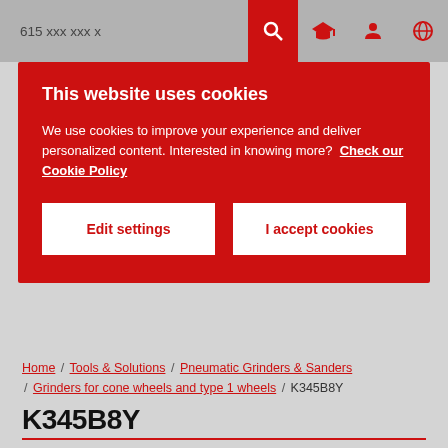615 xxx xxx x
This website uses cookies
We use cookies to improve your experience and deliver personalized content. Interested in knowing more? Check our Cookie Policy
Edit settings
I accept cookies
Home / Tools & Solutions / Pneumatic Grinders & Sanders / Grinders for cone wheels and type 1 wheels / K345B8Y
K345B8Y
K345B8Y
Print